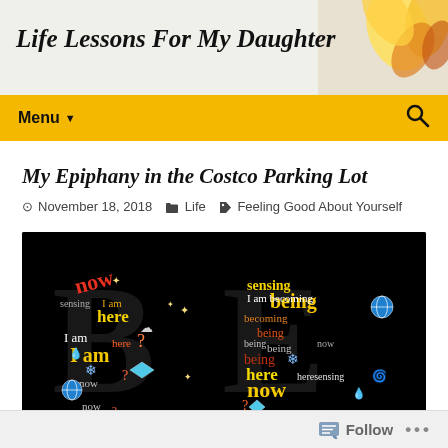Life Lessons For My Daughter
Menu
My Epiphany in the Costco Parking Lot
November 18, 2018   Life   Feeling Good About Yourself
[Figure (illustration): Word cloud image on black background shaped as letters 'BE' filled with colorful words including 'now', 'here', 'I am', 'being', 'sensing', 'becoming' with decorative emoji-style icons]
Follow   ...